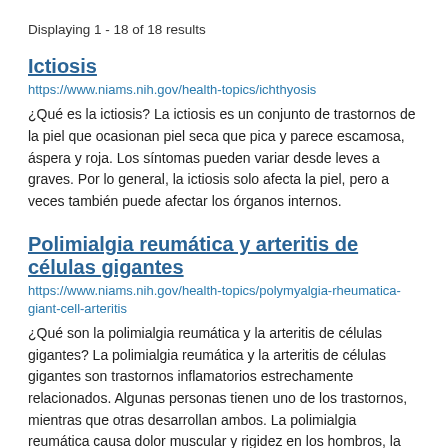Displaying 1 - 18 of 18 results
Ictiosis
https://www.niams.nih.gov/health-topics/ichthyosis
¿Qué es la ictiosis? La ictiosis es un conjunto de trastornos de la piel que ocasionan piel seca que pica y parece escamosa, áspera y roja. Los síntomas pueden variar desde leves a graves. Por lo general, la ictiosis solo afecta la piel, pero a veces también puede afectar los órganos internos.
Polimialgia reumática y arteritis de células gigantes
https://www.niams.nih.gov/health-topics/polymyalgia-rheumatica-giant-cell-arteritis
¿Qué son la polimialgia reumática y la arteritis de células gigantes? La polimialgia reumática y la arteritis de células gigantes son trastornos inflamatorios estrechamente relacionados. Algunas personas tienen uno de los trastornos, mientras que otras desarrollan ambos. La polimialgia reumática causa dolor muscular y rigidez en los hombros, la parte superior de los brazos, el área de la cadera y, a veces, en el cuello. La arteritis de células gigantes provoca inflamación de las arterias, especialmente las que se encuentran a